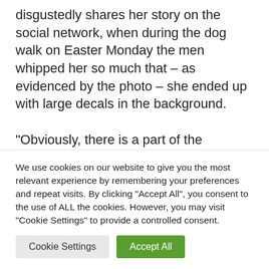disgustedly shares her story on the social network, when during the dog walk on Easter Monday the men whipped her so much that – as evidenced by the photo – she ended up with large decals in the background.
“Obviously, there is a part of the population (see article) that creates negative emotions in women and, according to many articles, [text cut off]
We use cookies on our website to give you the most relevant experience by remembering your preferences and repeat visits. By clicking “Accept All”, you consent to the use of ALL the cookies. However, you may visit "Cookie Settings" to provide a controlled consent.